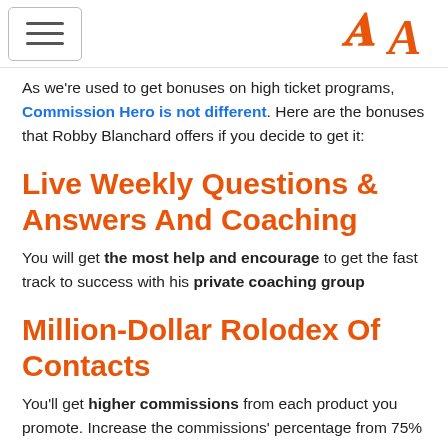[hamburger menu] [A logo]
As we're used to get bonuses on high ticket programs, Commission Hero is not different. Here are the bonuses that Robby Blanchard offers if you decide to get it:
Live Weekly Questions & Answers And Coaching
You will get the most help and encourage to get the fast track to success with his private coaching group
Million-Dollar Rolodex Of Contacts
You'll get higher commissions from each product you promote. Increase the commissions' percentage from 75%